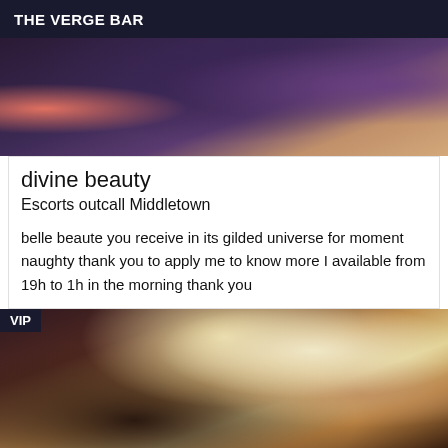THE VERGE BAR
[Figure (photo): Close-up photo of dark lace fabric with purple tones, partial view of pink clothing at edge]
divine beauty
Escorts outcall Middletown
belle beaute you receive in its gilded universe for moment naughty thank you to apply me to know more I available from 19h to 1h in the morning thank you
[Figure (photo): Interior room photo showing a bed with white sheets, wooden furniture, warm yellow lighting, with VIP badge overlay in top-left corner]